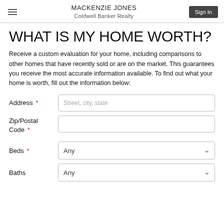MACKENZIE JONES
Coldwell Banker Realty
WHAT IS MY HOME WORTH?
Receive a custom evaluation for your home, including comparisons to other homes that have recently sold or are on the market. This guarantees you receive the most accurate information available. To find out what your home is worth, fill out the information below:
Address * [input: Street, city, state]
Zip/Postal Code * [input: empty]
Beds * [dropdown: Any]
Baths [dropdown: Any]